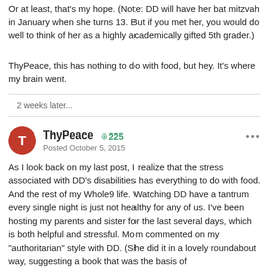Or at least, that's my hope.  (Note:  DD will have her bat mitzvah in January when she turns 13.  But if you met her, you would do well to think of her as a highly academically gifted 5th grader.)
ThyPeace, this has nothing to do with food, but hey.  It's where my brain went.
2 weeks later...
ThyPeace  + 225
Posted October 5, 2015
As I look back on my last post, I realize that the stress associated with DD's disabilities has everything to do with food.  And the rest of my Whole9 life.  Watching DD have a tantrum every single night is just not healthy for any of us.  I've been hosting my parents and sister for the last several days, which is both helpful and stressful.  Mom commented on my "authoritarian" style with DD.  (She did it in a lovely roundabout way, suggesting a book that was the basis of